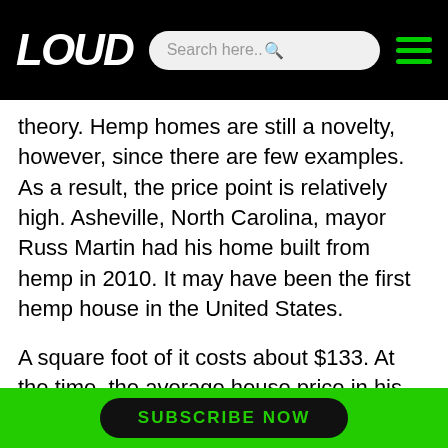LOUD | Search here..
theory. Hemp homes are still a novelty, however, since there are few examples. As a result, the price point is relatively high. Asheville, North Carolina, mayor Russ Martin had his home built from hemp in 2010. It may have been the first hemp house in the United States.
A square foot of it costs about $133. At the time, the average house price in his region was just over $76 per square foot. The cost of hemp houses should drop significantly with an increase in hemp houses.
Why are not using Hemp yet?
SUBSCRIBE NOW